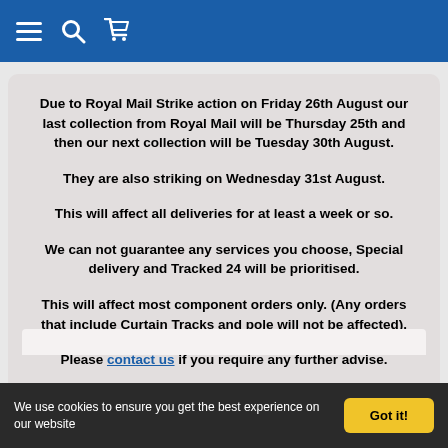Navigation bar with hamburger menu, search, and cart icons
Due to Royal Mail Strike action on Friday 26th August our last collection from Royal Mail will be Thursday 25th and then our next collection will be Tuesday 30th August.

They are also striking on Wednesday 31st August.

This will affect all deliveries for at least a week or so.

We can not guarantee any services you choose, Special delivery and Tracked 24 will be prioritised.

This will affect most component orders only. (Any orders that include Curtain Tracks and pole will not be affected).

Please contact us if you require any further advise.
We use cookies to ensure you get the best experience on our website   Got it!